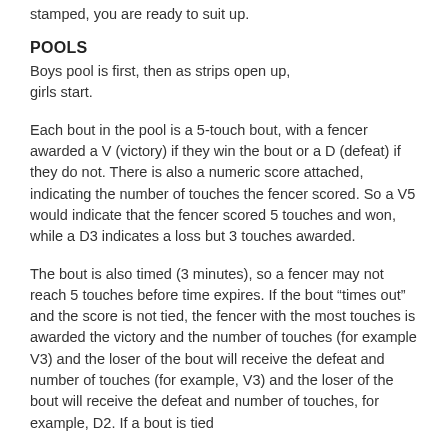stamped, you are ready to suit up.
POOLS
Boys pool is first, then as strips open up, girls start.
Each bout in the pool is a 5-touch bout, with a fencer awarded a V (victory) if they win the bout or a D (defeat) if they do not. There is also a numeric score attached, indicating the number of touches the fencer scored. So a V5 would indicate that the fencer scored 5 touches and won, while a D3 indicates a loss but 3 touches awarded.
The bout is also timed (3 minutes), so a fencer may not reach 5 touches before time expires. If the bout “times out” and the score is not tied, the fencer with the most touches is awarded the victory and the number of touches (for example V3) and the loser of the bout will receive the defeat and number of touches, for example, D2. If a bout is tied